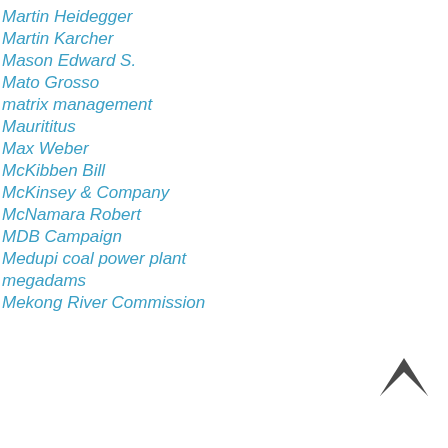Martin Heidegger
Martin Karcher
Mason Edward S.
Mato Grosso
matrix management
Maurititus
Max Weber
McKibben Bill
McKinsey & Company
McNamara Robert
MDB Campaign
Medupi coal power plant
megadams
Mekong River Commission